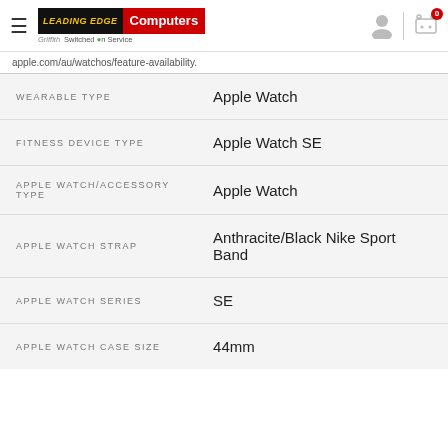Leading Edge Computers Griffith — Switched On Service
apple.com/au/watchos/feature-availability.
| Attribute | Value |
| --- | --- |
| WEARABLE TYPE | Apple Watch |
| FITNESS DEVICE TYPE | Apple Watch SE |
| APPLE WATCH/ACCESSORY TYPE | Apple Watch |
| APPLE WATCH STRAP | Anthracite/Black Nike Sport Band |
| APPLE WATCH SERIES | SE |
| APPLE WATCH CASE SIZE | 44mm |